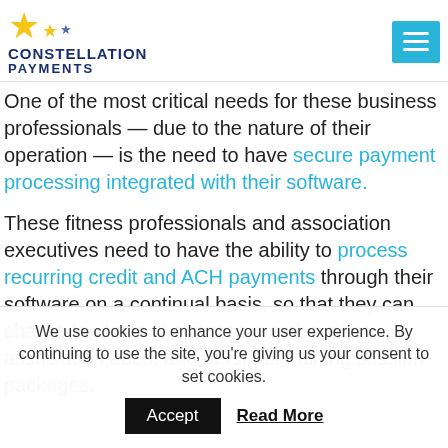[Figure (logo): Constellation Payments logo with gold stars and dark blue text]
One of the most critical needs for these business professionals — due to the nature of their operation — is the need to have secure payment processing integrated with their software.
These fitness professionals and association executives need to have the ability to process recurring credit and ACH payments through their software on a continual basis, so that they can charge for items like fitness memberships, association dues, and personal training session packages.
We use cookies to enhance your user experience. By continuing to use the site, you're giving us your consent to set cookies.